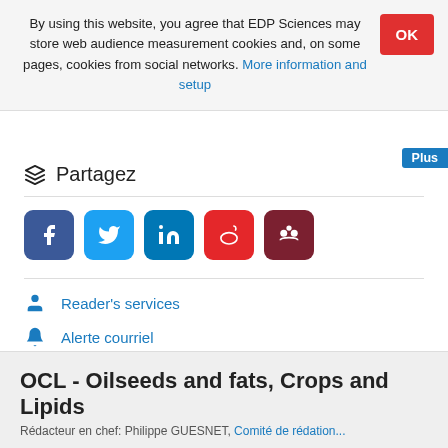By using this website, you agree that EDP Sciences may store web audience measurement cookies and, on some pages, cookies from social networks. More information and setup
OK
Plus
Partagez
[Figure (other): Social sharing buttons: Facebook, Twitter, LinkedIn, Weibo, Mendeley]
Reader's services
Alerte courriel
OCL - Oilseeds and fats, Crops and Lipids
Rédacteur en chef: Philippe GUESNET, Comité de rédaction...